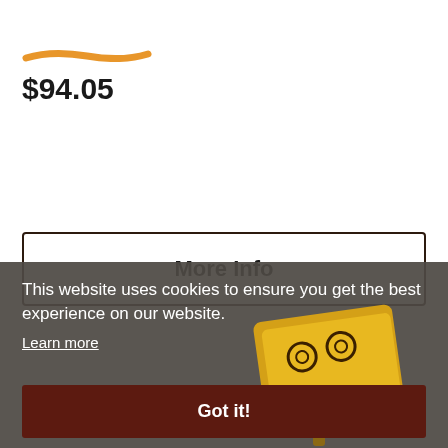[Figure (other): Orange brushstroke decorative bar]
$94.05
More Info
This website uses cookies to ensure you get the best experience on our website.
Learn more
Got it!
[Figure (photo): Product image of a yellow and red box/game with drone icons]